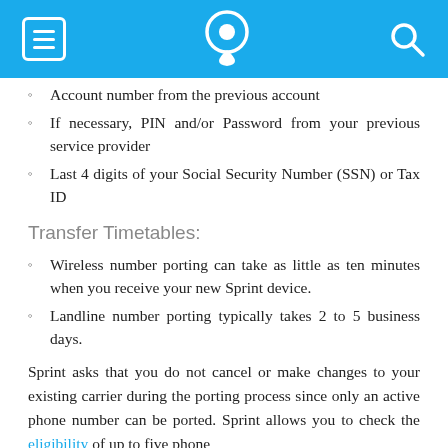[Sprint navigation header with menu, phone/location icon, search icon]
Account number from the previous account
If necessary, PIN and/or Password from your previous service provider
Last 4 digits of your Social Security Number (SSN) or Tax ID
Transfer Timetables:
Wireless number porting can take as little as ten minutes when you receive your new Sprint device.
Landline number porting typically takes 2 to 5 business days.
Sprint asks that you do not cancel or make changes to your existing carrier during the porting process since only an active phone number can be ported. Sprint allows you to check the eligibility of up to five phone numbers...